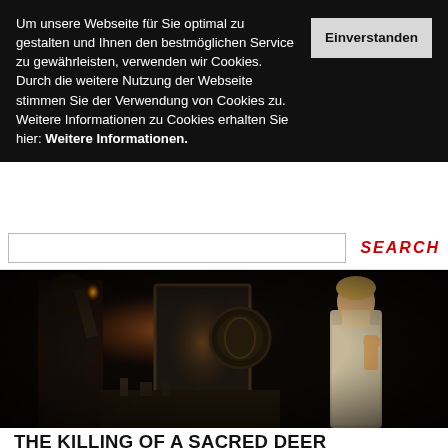Um unsere Webseite für Sie optimal zu gestalten und Ihnen den bestmöglichen Service zu gewährleisten, verwenden wir Cookies. Durch die weitere Nutzung der Webseite stimmen Sie der Verwendung von Cookies zu. Weitere Informationen zu Cookies erhalten Sie hier: Weitere Informationen.
Einverstanden
SEARCH
[Figure (photo): Dark cinematic still from a film showing two people in a dimly lit room. On the left, a person stands in shadow near a mirror. On the right, a blonde woman in a light-colored dress stands looking toward the camera with her hand near her mouth.]
THE KILLING OF A SACRED DEER
USA/Irland/Großbritannien 2017 | Black Comedy, Family, History